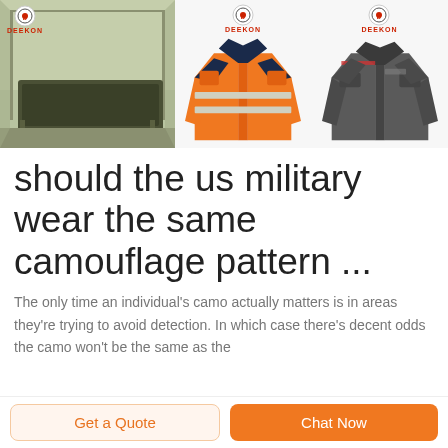[Figure (photo): Three product images in a row: (1) a military-style folding cot/tent with DEEKON logo, (2) an orange high-visibility safety jacket with reflective strips and DEEKON logo, (3) a dark gray/charcoal work jacket with DEEKON logo]
should the us military wear the same camouflage pattern ...
The only time an individual's camo actually matters is in areas they're trying to avoid detection. In which case there's decent odds the camo won't be the same as the
Get a Quote
Chat Now